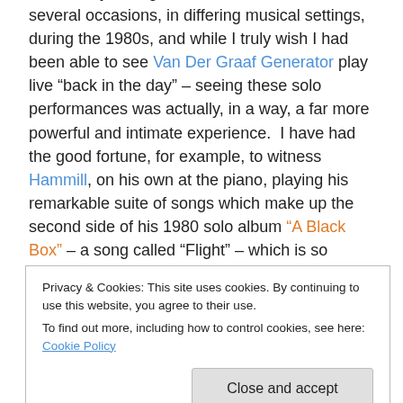I was lucky enough to see Peter Hammill on several occasions, in differing musical settings, during the 1980s, and while I truly wish I had been able to see Van Der Graaf Generator play live “back in the day” – seeing these solo performances was actually, in a way, a far more powerful and intimate experience.  I have had the good fortune, for example, to witness Hammill, on his own at the piano, playing his remarkable suite of songs which make up the second side of his 1980 solo album “A Black Box” – a song called “Flight” – which is so difficult to play, that I was only able to work out, myself – on the piano – the first
Privacy & Cookies: This site uses cookies. By continuing to use this website, you agree to their use.
To find out more, including how to control cookies, see here: Cookie Policy
thousands of notes and chords of the entire 20 plus